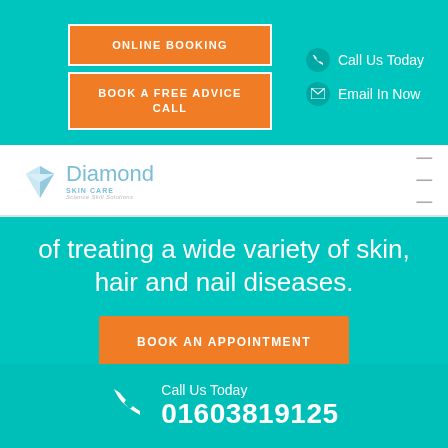ONLINE BOOKING
BOOK A FREE ADVICE CALL
Call Us Today
Email In Now
[Figure (logo): Diamond Skin Care logo with diamond gemstone graphic, tagline Science Skill Solutions]
of treating a wide variety of skin, hair and nail diseases.
BOOK AN APPOINTMENT
Call Us Today 01603819125